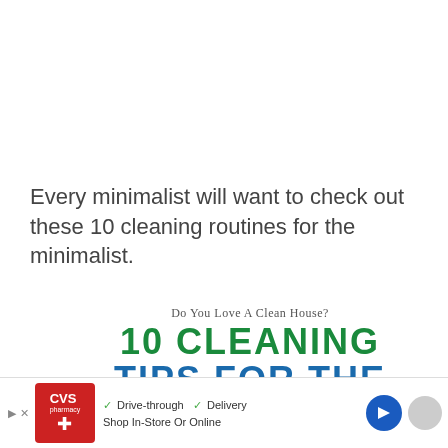Every minimalist will want to check out these 10 cleaning routines for the minimalist.
[Figure (infographic): Infographic with text: 'Do You Love A Clean House?' in serif gray, then '10 CLEANING TIPS FOR THE MINIMALIST' in large bold green and blue block letters, followed by 'foodstoragemoms.com' in italic.]
[Figure (infographic): CVS Pharmacy advertisement banner: CVS logo on left, checkmarks for Drive-through and Delivery, navigation arrow icon, text 'Shop In-Store Or Online'.]